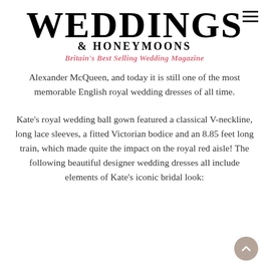[Figure (logo): Weddings & Honeymoons magazine logo with tagline 'Britain's Best Selling Wedding Magazine']
Alexander McQueen, and today it is still one of the most memorable English royal wedding dresses of all time.
Kate's royal wedding ball gown featured a classical V-neckline, long lace sleeves, a fitted Victorian bodice and an 8.85 feet long train, which made quite the impact on the royal red aisle! The following beautiful designer wedding dresses all include elements of Kate's iconic bridal look: